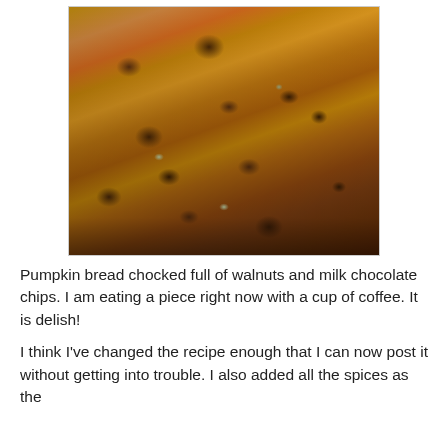[Figure (photo): Close-up photo of sliced pumpkin bread with visible walnuts and milk chocolate chips, golden-brown texture with dark inclusions throughout]
Pumpkin bread chocked full of walnuts and milk chocolate chips. I am eating a piece right now with a cup of coffee. It is delish!
I think I've changed the recipe enough that I can now post it without getting into trouble. I also added all the spices as the original had none. So for all of you reading for the recipe i...